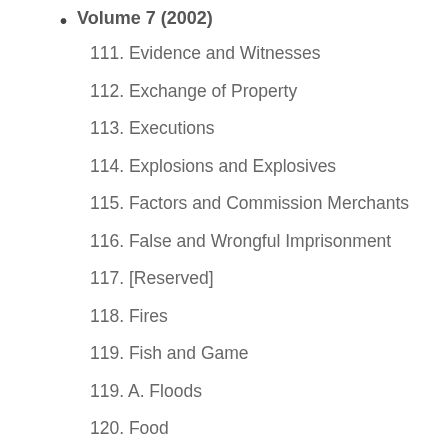Volume 7 (2002)
111. Evidence and Witnesses
112. Exchange of Property
113. Executions
114. Explosions and Explosives
115. Factors and Commission Merchants
116. False and Wrongful Imprisonment
117. [Reserved]
118. Fires
119. Fish and Game
119. A. Floods
120. Food
121. [Reserved]
122. Fraud and Deceit
Volume 7A (2002)
123. Frauds, Statute of